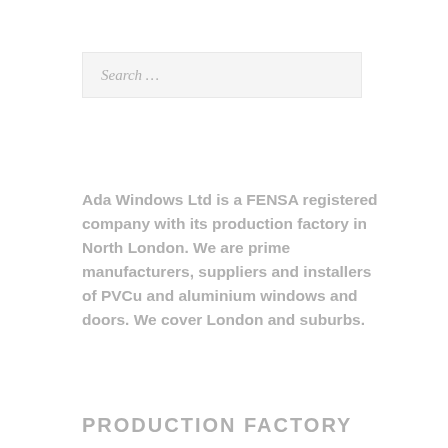[Figure (other): Search input box with placeholder text 'Search ...']
Ada Windows Ltd is a FENSA registered company with its production factory in North London. We are prime manufacturers, suppliers and installers of PVCu and aluminium windows and doors. We cover London and suburbs.
PRODUCTION FACTORY